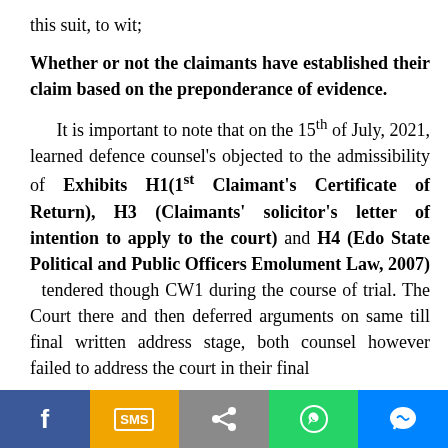this suit, to wit;
Whether or not the claimants have established their claim based on the preponderance of evidence.
It is important to note that on the 15th of July, 2021, learned defence counsel's objected to the admissibility of Exhibits H1(1st Claimant's Certificate of Return), H3 (Claimants' solicitor's letter of intention to apply to the court) and H4 (Edo State Political and Public Officers Emolument Law, 2007) tendered though CW1 during the course of trial. The Court there and then deferred arguments on same till final written address stage, both counsel however failed to address the court in their final